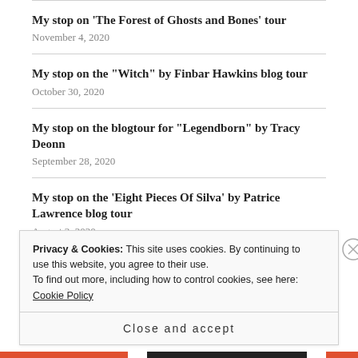My stop on ‘The Forest of Ghosts and Bones’ tour
November 4, 2020
My stop on the “Witch” by Finbar Hawkins blog tour
October 30, 2020
My stop on the blogtour for “Legendborn” by Tracy Deonn
September 28, 2020
My stop on the ‘Eight Pieces Of Silva’ by Patrice Lawrence blog tour
August 3, 2020
Privacy & Cookies: This site uses cookies. By continuing to use this website, you agree to their use.
To find out more, including how to control cookies, see here: Cookie Policy
Close and accept